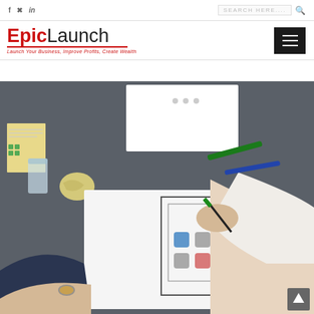f  ☛  in    SEARCH HERE....  🔍
[Figure (logo): EpicLaunch logo with tagline: Launch Your Business, Improve Profits, Create Wealth]
[Figure (photo): Person drawing UI wireframe/mockup on paper at a desk with markers and sticky notes]